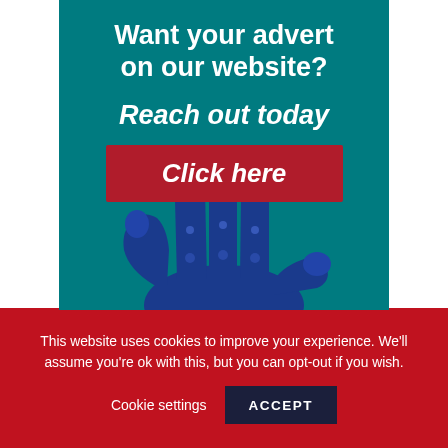[Figure (illustration): Advertisement banner with teal background showing a blue robotic hand reaching upward, with text 'Want your advert on our website?' and 'Reach out today' above a red 'Click here' button]
This website uses cookies to improve your experience. We'll assume you're ok with this, but you can opt-out if you wish.
Cookie settings     ACCEPT